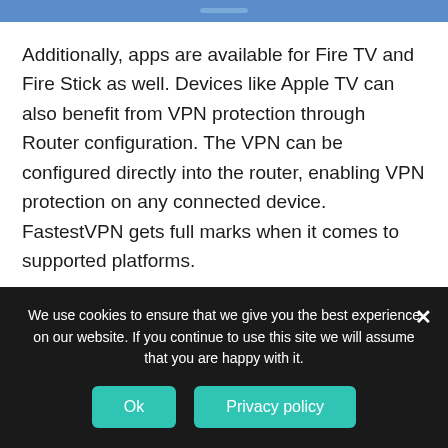[Figure (screenshot): Blue navigation bar at top of mobile app/browser screen]
Additionally, apps are available for Fire TV and Fire Stick as well. Devices like Apple TV can also benefit from VPN protection through Router configuration. The VPN can be configured directly into the router, enabling VPN protection on any connected device. FastestVPN gets full marks when it comes to supported platforms.
The apps themselves are easy to set up and use. A button lets you connect/disconnect from the VPN server, and you can navigate to the server menu by clicking the VPN
We use cookies to ensure that we give you the best experience on our website. If you continue to use this site we will assume that you are happy with it.